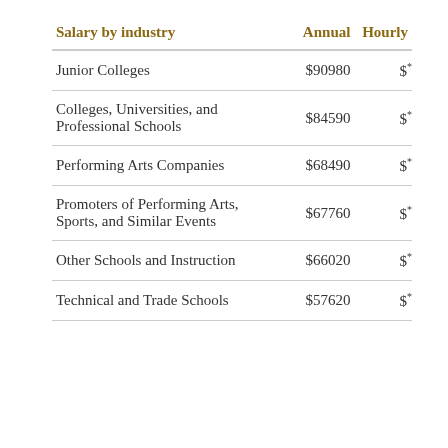| Salary by industry | Annual | Hourly |
| --- | --- | --- |
| Junior Colleges | $90980 | $* |
| Colleges, Universities, and Professional Schools | $84590 | $* |
| Performing Arts Companies | $68490 | $* |
| Promoters of Performing Arts, Sports, and Similar Events | $67760 | $* |
| Other Schools and Instruction | $66020 | $* |
| Technical and Trade Schools | $57620 | $* |